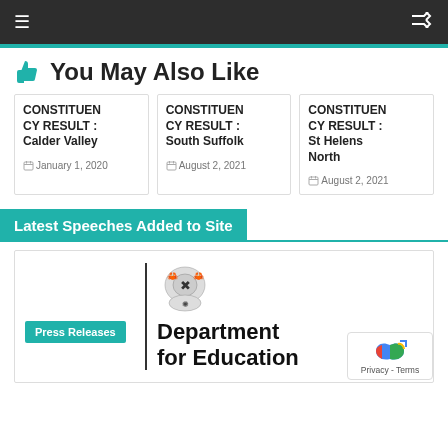Navigation bar with hamburger menu and shuffle icon
👍 You May Also Like
CONSTITUENCY RESULT : Calder Valley — January 1, 2020
CONSTITUENCY RESULT : South Suffolk — August 2, 2021
CONSTITUENCY RESULT : St Helens North — August 2, 2021
Latest Speeches Added to Site
[Figure (logo): Department for Education logo with royal crest]
Press Releases